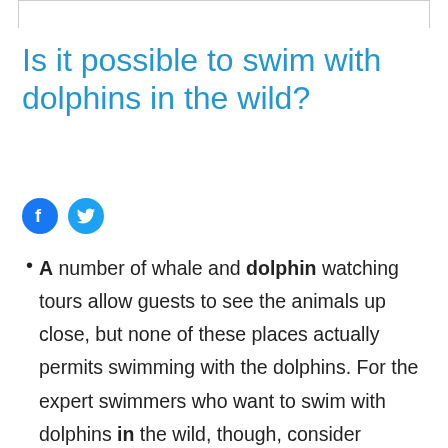Is it possible to swim with dolphins in the wild?
[Figure (infographic): Facebook and Twitter social share icons (circular buttons)]
A number of whale and dolphin watching tours allow guests to see the animals up close, but none of these places actually permits swimming with the dolphins. For the expert swimmers who want to swim with dolphins in the wild, though, consider chartering a private boat in an area where dolphins are known to congregate.